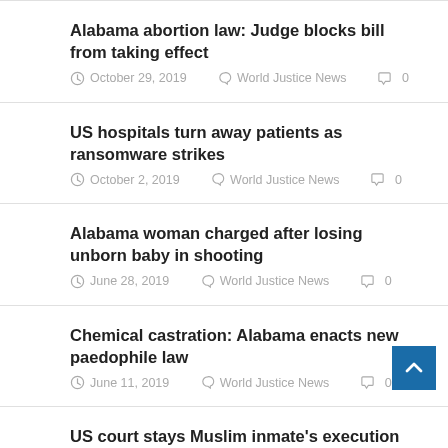Alabama abortion law: Judge blocks bill from taking effect
October 29, 2019 | World Justice News | 0 comments
US hospitals turn away patients as ransomware strikes
October 2, 2019 | World Justice News | 0 comments
Alabama woman charged after losing unborn baby in shooting
June 28, 2019 | World Justice News | 0 comments
Chemical castration: Alabama enacts new paedophile law
June 11, 2019 | World Justice News | 0 comments
US court stays Muslim inmate's execution over denial of